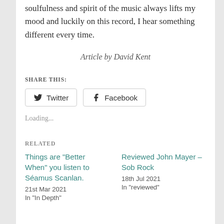soulfulness and spirit of the music always lifts my mood and luckily on this record, I hear something different every time.
Article by David Kent
SHARE THIS:
Loading...
RELATED
Things are "Better When" you listen to Séamus Scanlan.
21st Mar 2021
In "In Depth"
Reviewed John Mayer – Sob Rock
18th Jul 2021
In "reviewed"